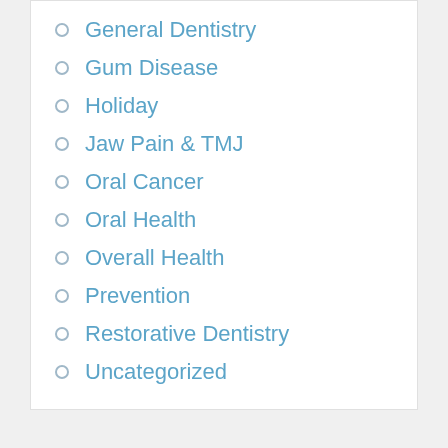General Dentistry
Gum Disease
Holiday
Jaw Pain & TMJ
Oral Cancer
Oral Health
Overall Health
Prevention
Restorative Dentistry
Uncategorized
Learn about our Patient Safety Guidelines
[Figure (photo): Partial view of a person at the bottom of the page against a gray background]